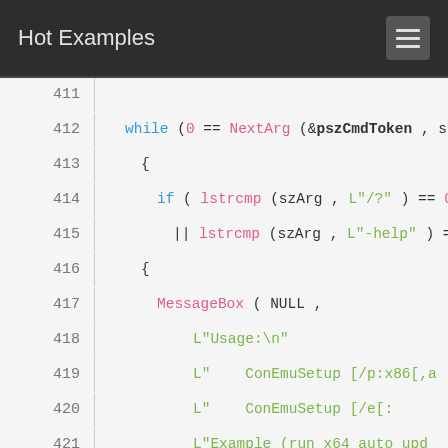Hot Examples
[Figure (screenshot): Code snippet showing C/C++ source lines 411-424 with syntax highlighting on a light background. Lines show a while loop with NextArg, lstrcmp checks, MessageBox call with usage string, and return 1 statement.]